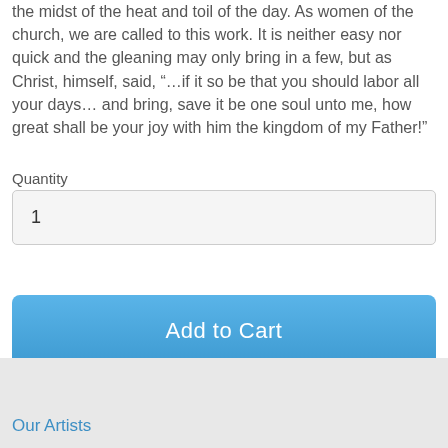the midst of the heat and toil of the day. As women of the church, we are called to this work. It is neither easy nor quick and the gleaning may only bring in a few, but as Christ, himself, said, “…if it so be that you should labor all your days… and bring, save it be one soul unto me, how great shall be your joy with him the kingdom of my Father!”
Quantity
1
Add to Cart
Our Artists